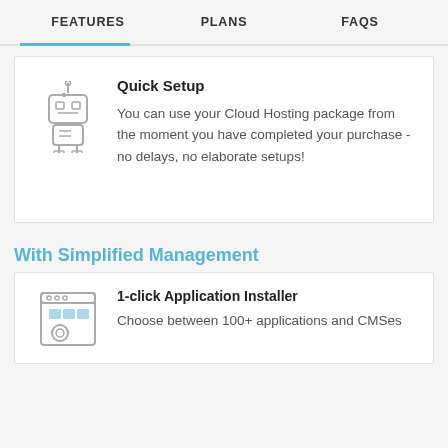FEATURES   PLANS   FAQS
Quick Setup
You can use your Cloud Hosting package from the moment you have completed your purchase - no delays, no elaborate setups!
With Simplified Management
1-click Application Installer
Choose between 100+ applications and CMSes